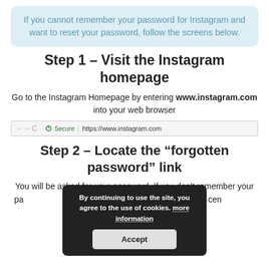If you cannot remember your password for Instagram and want to reset your password, follow the screens below.
Step 1 – Visit the Instagram homepage
Go to the Instagram Homepage by entering www.instagram.com into your web browser
[Figure (screenshot): Browser address bar showing https://www.instagram.com with secure padlock icon]
Step 2 – Locate the “forgotten password” link
You will be asked for your password. If you don't remember your password, click the forgotten password link in the centre of the screen under the login input boxes.
[Figure (screenshot): Cookie consent overlay on Instagram page with text 'By continuing to use the site, you agree to the use of cookies. more information' and an Accept button]
[Figure (screenshot): Bottom of mobile phone screenshot]